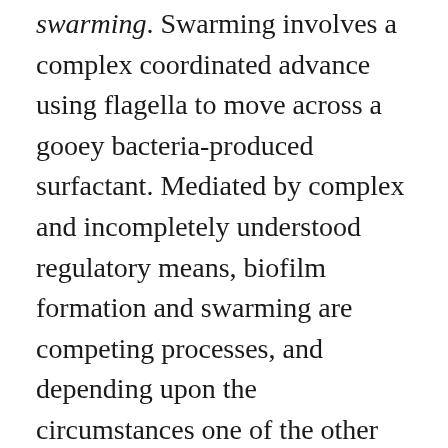swarming. Swarming involves a complex coordinated advance using flagella to move across a gooey bacteria-produced surfactant. Mediated by complex and incompletely understood regulatory means, biofilm formation and swarming are competing processes, and depending upon the circumstances one of the other may better enhance bacterial survival. Both sessile biofilm formation and swarming motility are related to pathogenicity and bacterial resistance to treatment. The ability to form a biofilm, for instance, enhances the devastating effect of Pseudomonas in the lungs of cystic fibrosis